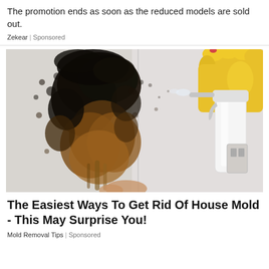The promotion ends as soon as the reduced models are sold out.
Zekear | Sponsored
[Figure (photo): Photo of severe black and brown mold growth on a white wall corner, with a hand wearing a yellow rubber glove holding a white spray bottle aimed at the mold.]
The Easiest Ways To Get Rid Of House Mold - This May Surprise You!
Mold Removal Tips | Sponsored